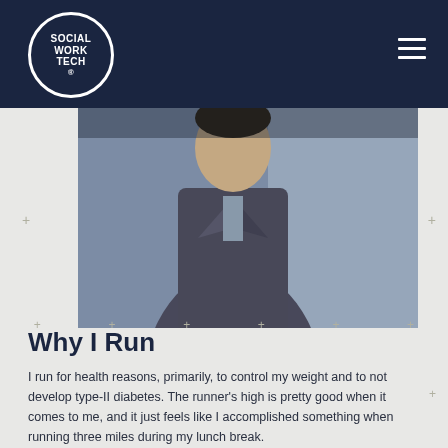Social Work Tech - navigation bar with logo and hamburger menu
[Figure (photo): A person in a dark coat photographed outdoors against a grey wall background, cropped to show torso and partial face]
Why I Run
I run for health reasons, primarily, to control my weight and to not develop type-II diabetes. The runner's high is pretty good when it comes to me, and it just feels like I accomplished something when running three miles during my lunch break.
Working in a profession that includes the dreaded